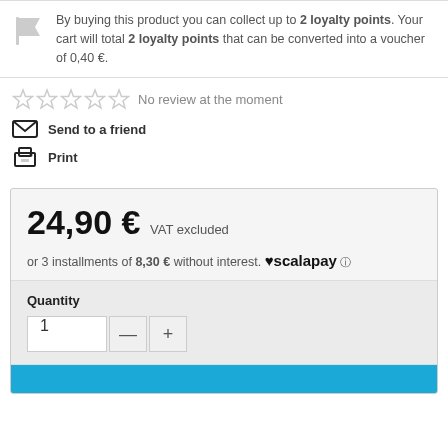By buying this product you can collect up to 2 loyalty points. Your cart will total 2 loyalty points that can be converted into a voucher of 0,40 €.
No review at the moment
Send to a friend
Print
24,90 € VAT excluded
or 3 installments of 8,30 € without interest. ♥scalapay
Quantity
1